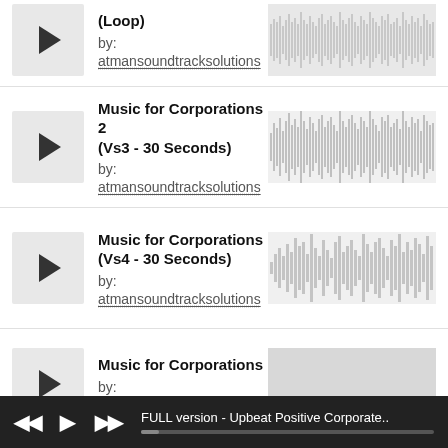[Figure (screenshot): Audio track listing row: Music for Corporations 2 (Loop) by atmansoundtracksolutions with play button and waveform]
[Figure (screenshot): Audio track listing row: Music for Corporations 2 (Vs3 - 30 Seconds) by atmansoundtracksolutions with play button and waveform]
[Figure (screenshot): Audio track listing row: Music for Corporations (Vs4 - 30 Seconds) by atmansoundtracksolutions with play button and waveform]
[Figure (screenshot): Audio track listing row: Music for Corporations by atmansoundtracksolutions with play button and waveform]
FULL version - Upbeat Positive Corporate..